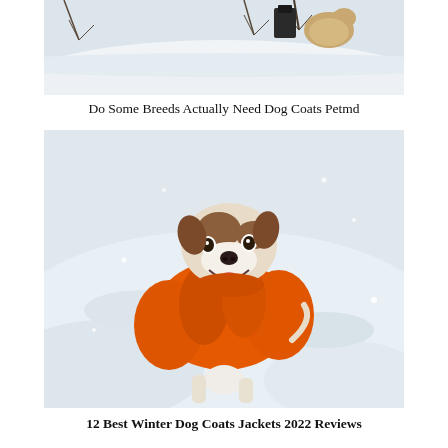[Figure (photo): A dog or dogs in snow, partial view — snowy scene with bare branches and a dog visible from behind, plus what appears to be a camera or equipment.]
Do Some Breeds Actually Need Dog Coats Petmd
[Figure (photo): A Jack Russell Terrier dog wearing a bright orange puffy winter coat, standing in snow and looking at the camera with mouth open.]
12 Best Winter Dog Coats Jackets 2022 Reviews